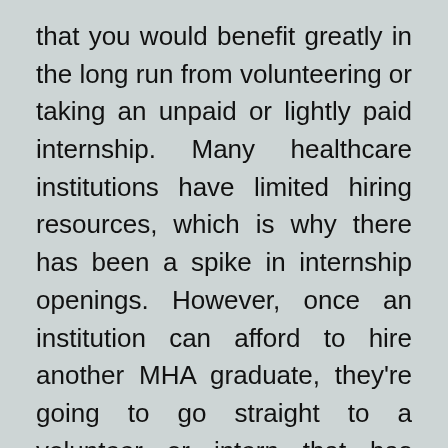that you would benefit greatly in the long run from volunteering or taking an unpaid or lightly paid internship. Many healthcare institutions have limited hiring resources, which is why there has been a spike in internship openings. However, once an institution can afford to hire another MHA graduate, they're going to go straight to a volunteer or intern that has earned their respect.
Don't forget to attend networking events after you graduate. While intercollegiate networking events and job fairs make it easy for you to network in school, there are still plenty of